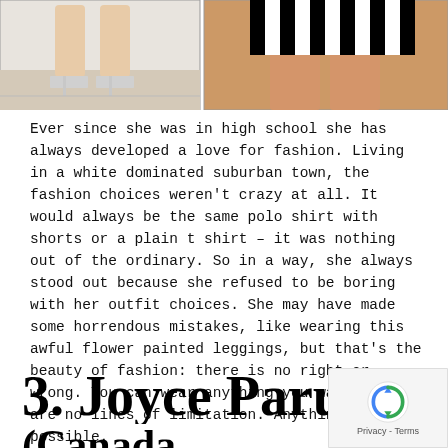[Figure (photo): Two fashion photos side by side: left shows legs with white heeled sandals on a wooden floor; right shows legs in a black-and-white striped outfit]
Ever since she was in high school she has always developed a love for fashion. Living in a white dominated suburban town, the fashion choices weren't crazy at all. It would always be the same polo shirt with shorts or a plain t shirt – it was nothing out of the ordinary. So in a way, she always stood out because she refused to be boring with her outfit choices. She may have made some horrendous mistakes, like wearing this awful flower painted leggings, but that's the beauty of fashion: there is no right or wrong. You can wear anything you want. There are no lines of limitation. Anything is possible.
3. Joyce Parungao
(Canada)
[Figure (logo): Google reCAPTCHA badge with Privacy and Terms links]